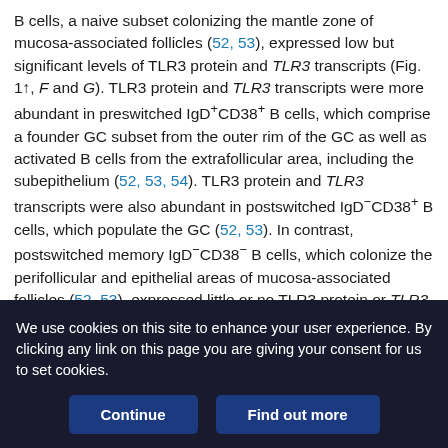B cells, a naive subset colonizing the mantle zone of mucosa-associated follicles (52, 53), expressed low but significant levels of TLR3 protein and TLR3 transcripts (Fig. 1↑, F and G). TLR3 protein and TLR3 transcripts were more abundant in preswitched IgD+CD38+ B cells, which comprise a founder GC subset from the outer rim of the GC as well as activated B cells from the extrafollicular area, including the subepithelium (52, 53, 54). TLR3 protein and TLR3 transcripts were also abundant in postswitched IgD⁻CD38⁺ B cells, which populate the GC (52, 53). In contrast, postswitched memory IgD⁻CD38⁻ B cells, which colonize the perifollicular and epithelial areas of mucosa-associated follicles (52, 53), expressed little or no TLR3 protein or TLR3 transcripts. In agreement with prior studies (39, 40), all mucosal B cell subsets
We use cookies on this site to enhance your user experience. By clicking any link on this page you are giving your consent for us to set cookies.